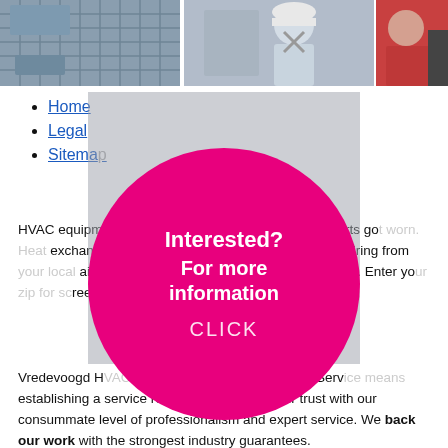[Figure (photo): Top banner with three photos: HVAC equipment on left, technician working in middle, person in red on right]
Home
Legal
Sitemap
HVAC equipment… Yet over the years, parts go… exchangers, and ducts can… ay need repairing from… air conditioning sy… omeAdvisor help. Enter yo… reened HVAC repair services…
[Figure (infographic): Pink circle overlay with text: Interested? For more information CLICK]
Vredevoogd H… and every customer. Serv… establishing a service relatio… earn your trust with our consummate level of professionalism and expert service. We back our work…